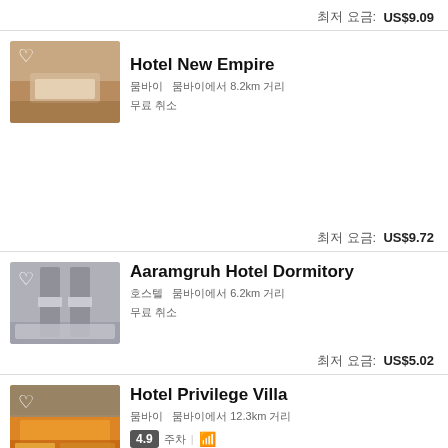최저 요금:  US$9.09
[Figure (photo): Hotel room photo with bed, warm tones]
Hotel New Empire
뭄바이  뭄바이에서 8.2km 거리
무료 취소
최저 요금:  US$9.72
[Figure (photo): Dormitory bunk beds photo]
Aaramgruh Hotel Dormitory
호스텔  뭄바이에서 6.2km 거리
무료 취소
최저 요금:  US$5.02
[Figure (photo): Hotel exterior building photo]
Hotel Privilege Villa
뭄바이  뭄바이에서 12.3km 거리
4.9  주차  WiFi
최저 요금:  US$5.06